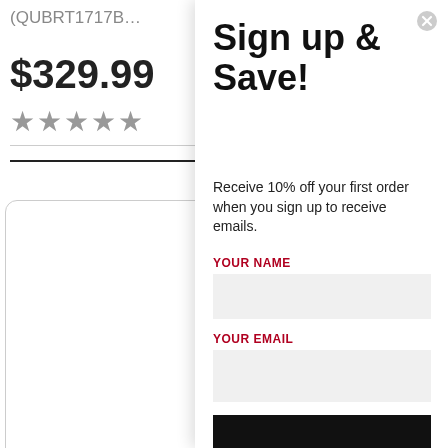(QUBRT1717B…
$329.99
★★★★★
Con…
This websi… enhance your b… recommenda…
Sign up & Save!
Receive 10% off your first order when you sign up to receive emails.
YOUR NAME
YOUR EMAIL